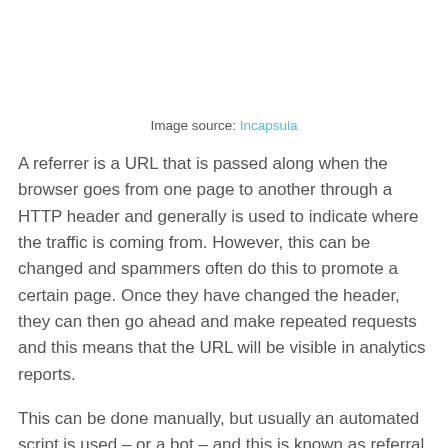Image source: Incapsula
A referrer is a URL that is passed along when the browser goes from one page to another through a HTTP header and generally is used to indicate where the traffic is coming from. However, this can be changed and spammers often do this to promote a certain page. Once they have changed the header, they can then go ahead and make repeated requests and this means that the URL will be visible in analytics reports.
This can be done manually, but usually an automated script is used – or a bot – and this is known as referral spam.